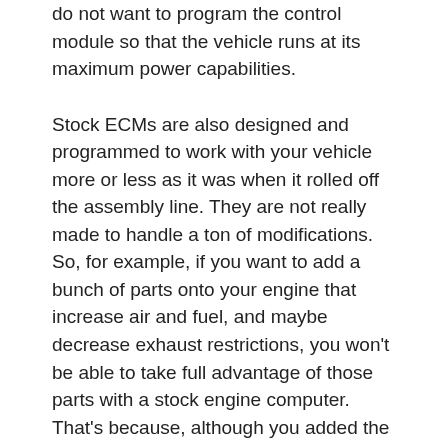do not want to program the control module so that the vehicle runs at its maximum power capabilities.
Stock ECMs are also designed and programmed to work with your vehicle more or less as it was when it rolled off the assembly line. They are not really made to handle a ton of modifications. So, for example, if you want to add a bunch of parts onto your engine that increase air and fuel, and maybe decrease exhaust restrictions, you won’t be able to take full advantage of those parts with a stock engine computer. That’s because, although you added the parts, the stock ECM still has the parameters from the manufacturer that emphasize moderation, low emissions, and good gas mileage.
It is possible to reprogram and tune some stock ECMs. However, it often depends on the manufacturer, and even if it is possible, stock computers can sometimes be